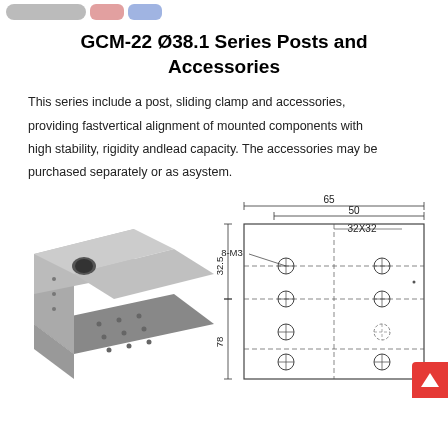GCM-22 Ø38.1 Series Posts and Accessories
This series include a post, sliding clamp and accessories, providing fastvertical alignment of mounted components with high stability, rigidity andlead capacity. The accessories may be purchased separately or as asystem.
[Figure (photo): 3D photo of a gray L-shaped bracket/base plate with mounting holes and a central circular hole, viewed from an angle]
[Figure (engineering-diagram): Technical engineering drawing of bracket showing dimensions: 65mm width, 50mm inner width, 32X32 hole pattern, 8-M3 threaded holes, 32.5mm and 78mm height dimensions]